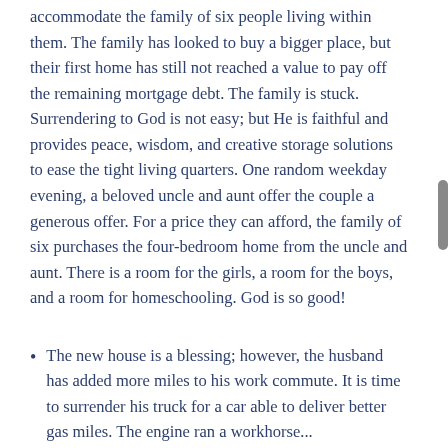accommodate the family of six people living within them. The family has looked to buy a bigger place, but their first home has still not reached a value to pay off the remaining mortgage debt. The family is stuck. Surrendering to God is not easy; but He is faithful and provides peace, wisdom, and creative storage solutions to ease the tight living quarters. One random weekday evening, a beloved uncle and aunt offer the couple a generous offer. For a price they can afford, the family of six purchases the four-bedroom home from the uncle and aunt. There is a room for the girls, a room for the boys, and a room for homeschooling. God is so good!
The new house is a blessing; however, the husband has added more miles to his work commute. It is time to surrender his truck for a car able to deliver better gas miles. The engine ran a workhorse...